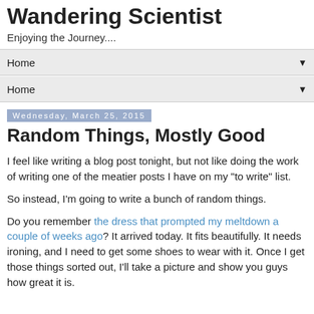Wandering Scientist
Enjoying the Journey....
Home ▼
Home ▼
Wednesday, March 25, 2015
Random Things, Mostly Good
I feel like writing a blog post tonight, but not like doing the work of writing one of the meatier posts I have on my "to write" list.
So instead, I'm going to write a bunch of random things.
Do you remember the dress that prompted my meltdown a couple of weeks ago? It arrived today. It fits beautifully. It needs ironing, and I need to get some shoes to wear with it. Once I get those things sorted out, I'll take a picture and show you guys how great it is.